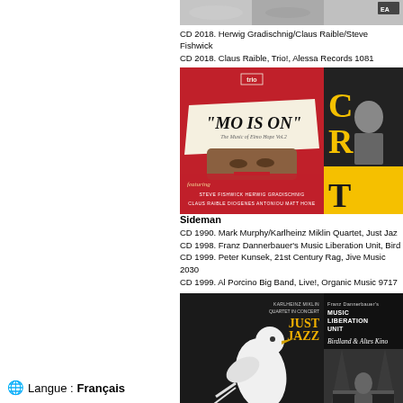[Figure (photo): Top album cover images — partial view of two CD covers]
CD 2018. Herwig Gradischnig/Claus Raible/Steve Fishwick
CD 2018. Claus Raible, Trio!, Alessa Records 1081
[Figure (photo): Two CD album covers side by side: left is 'Mo Is On - The Music of Elmo Hope Vol.2' on red background featuring Steve Fishwick, Herwig Gradischnig, Claus Raible, Diogenes Antoniou, Matt Hone; right is a partial view of another CD with a person in black and yellow]
Sideman
CD 1990. Mark Murphy/Karlheinz Miklin Quartet, Just Jazz
CD 1998. Franz Dannerbauer's Music Liberation Unit, Bird
CD 1999. Peter Kunsek, 21st Century Rag, Jive Music 2030
CD 1999. Al Porcino Big Band, Live!, Organic Music 9717
[Figure (photo): Two CD album covers side by side: left is Mark Murphy 'Just Jazz' (Karlheinz Miklin Quartet in Concert) with a bird illustration on black background; right is Franz Dannerbauer's Music Liberation Unit 'Birdland & Altes Kino' with a concert photo]
🌐 Langue : Français